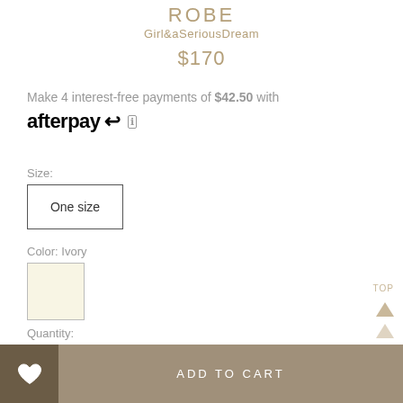ROBE
Girl&aSeriousDream
$170
Make 4 interest-free payments of $42.50 with afterpay ℹ
Size:
One size
Color: Ivory
Quantity:
− 1 +
ADD TO CART